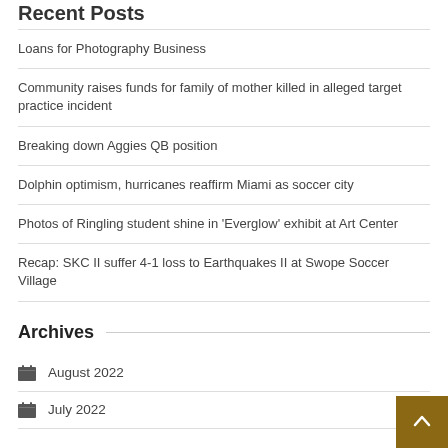Recent Posts
Loans for Photography Business
Community raises funds for family of mother killed in alleged target practice incident
Breaking down Aggies QB position
Dolphin optimism, hurricanes reaffirm Miami as soccer city
Photos of Ringling student shine in 'Everglow' exhibit at Art Center
Recap: SKC II suffer 4-1 loss to Earthquakes II at Swope Soccer Village
Archives
August 2022
July 2022